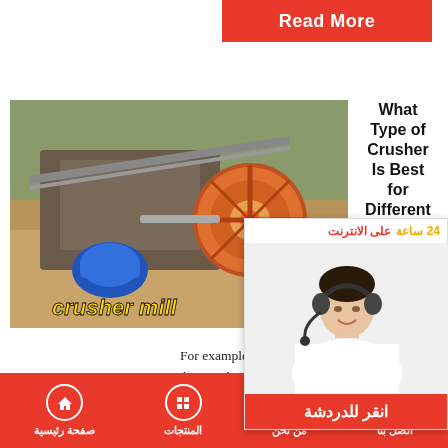Read More
[Figure (photo): Photo of a crusher mill machine with orange/gold wheel, blue motor, and metal frame outdoors. Label reads 'crusher mill' in yellow italic text.]
What Type of Crusher Is Best for Different
[Figure (photo): Chat widget overlay with Arabic text header 'على الانترنت 24 ساعة' (Online 24 hours) in red and yellow, photo of a woman with headset/microphone in white shirt, and red button at bottom reading 'انقر للدردشة' (Click to Chat).]
For example, jaw or rotary crushers in crushing and cone crushers in secondary cru... is for the Robust. The earliest invented which is manufactured to reduce the si...
صفحة رئيسية   المنتجات   من نحن   اتصل بنا